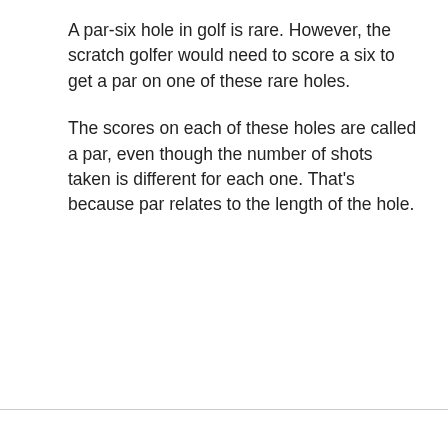A par-six hole in golf is rare. However, the scratch golfer would need to score a six to get a par on one of these rare holes.
The scores on each of these holes are called a par, even though the number of shots taken is different for each one. That’s because par relates to the length of the hole.